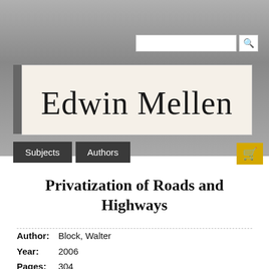[Figure (logo): Edwin Mellen Press cursive signature logo on cream background]
Subjects  Authors
Privatization of Roads and Highways
Author: Block, Walter
Year: 2006
Pages: 304
ISBN: 9-7734-5841-7